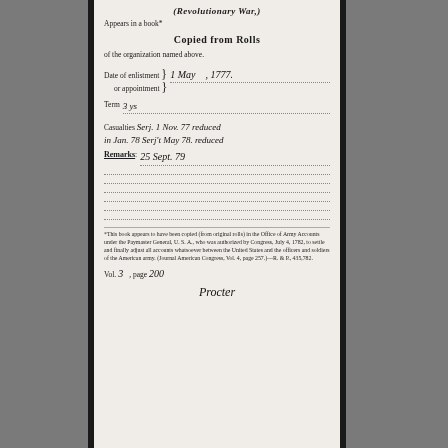(Revolutionary War,)
Appears in a book*
Copied from Rolls
of the organization named above.
Date of enlistment } 1 May , 1777.
  or appointment }
Term  3 ys
Casualties Serj. 1 Nov. 77 reduced in Jan. 78 Serj't May 78. reduced
Remarks: 25 Sept. 79
*This book appears to have been copied (from original rolls) in the Office of Army Accounts under the Paymaster General, U. S. A., who was authorized by Congress, July 4, 1782, to settle and finally adjust all accounts whatsoever between the United States and the officers and soldiers of the American army. (Journal American Congress, Vol. 4, page 257.)—R. & P., 435,782.
Vol. 3 page 200
Procter